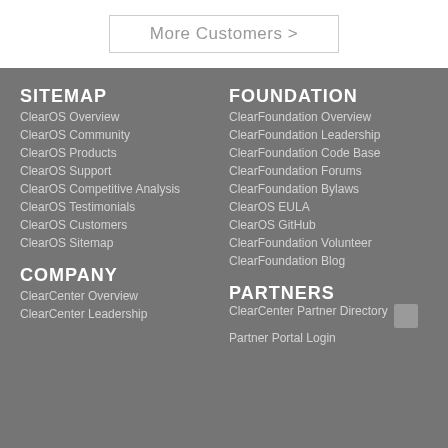More Customers >
SITEMAP
ClearOS Overview
ClearOS Community
ClearOS Products
ClearOS Support
ClearOS Competitive Analysis
ClearOS Testimonials
ClearOS Customers
ClearOS Sitemap
FOUNDATION
ClearFoundation Overview
ClearFoundation Leadership
ClearFoundation Code Base
ClearFoundation Forums
ClearFoundation Bylaws
ClearOS EULA
ClearOS GitHub
ClearFoundation Volunteer
ClearFoundation Blog
COMPANY
ClearCenter Overview
ClearCenter Leadership
PARTNERS
ClearCenter Partner Directory
Partner Portal Login